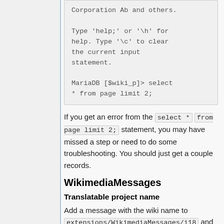[Figure (screenshot): Code block showing MariaDB terminal output including copyright text and SQL query]
If you get an error from the select * from page limit 2; statement, you may have missed a step or need to do some troubleshooting. You should just get a couple records.
WikimediaMessages
Translatable project name
Add a message with the wiki name to extensions/WikimediaMessages/i18... and qqq.json. The message keys